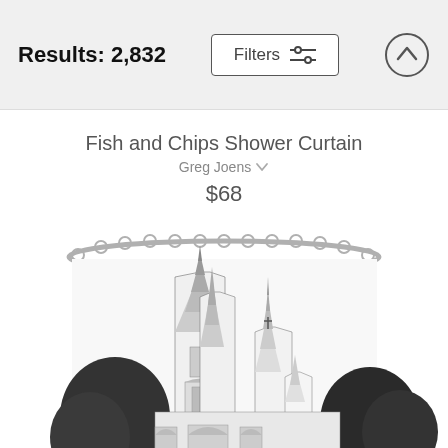Results: 2,832
Fish and Chips Shower Curtain
Greg Joens
$68
[Figure (photo): A shower curtain with a black-and-white detailed illustration of a Gothic cathedral with tall spires, surrounded by trees. The curtain hangs from a curved silver rod with rings.]